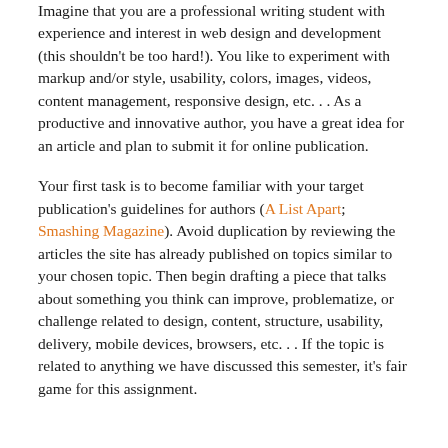Imagine that you are a professional writing student with experience and interest in web design and development (this shouldn't be too hard!). You like to experiment with markup and/or style, usability, colors, images, videos, content management, responsive design, etc. . . As a productive and innovative author, you have a great idea for an article and plan to submit it for online publication.
Your first task is to become familiar with your target publication's guidelines for authors (A List Apart; Smashing Magazine). Avoid duplication by reviewing the articles the site has already published on topics similar to your chosen topic. Then begin drafting a piece that talks about something you think can improve, problematize, or challenge related to design, content, structure, usability, delivery, mobile devices, browsers, etc. . . If the topic is related to anything we have discussed this semester, it's fair game for this assignment.